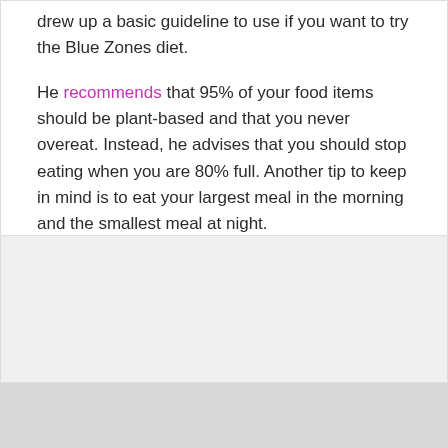drew up a basic guideline to use if you want to try the Blue Zones diet.
He recommends that 95% of your food items should be plant-based and that you never overeat. Instead, he advises that you should stop eating when you are 80% full. Another tip to keep in mind is to eat your largest meal in the morning and the smallest meal at night.
[Figure (other): Light gray placeholder image block below the text content]